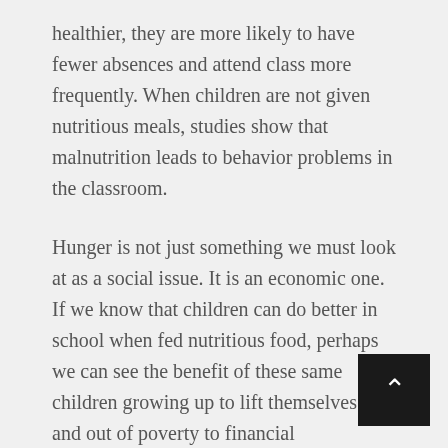healthier, they are more likely to have fewer absences and attend class more frequently. When children are not given nutritious meals, studies show that malnutrition leads to behavior problems in the classroom.
Hunger is not just something we must look at as a social issue. It is an economic one. If we know that children can do better in school when fed nutritious food, perhaps we can see the benefit of these same children growing up to lift themselves up and out of poverty to financial independence. Food is more than just hunger, it is a vehicle to elevate entire communities.